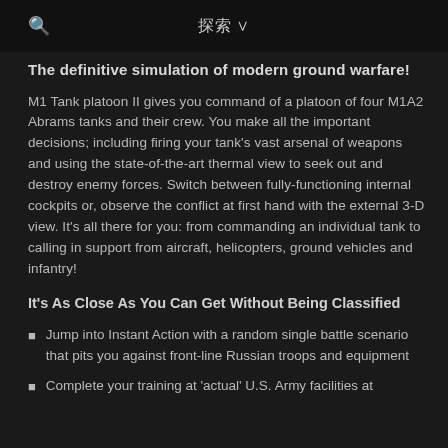🔍  探索 ∨
The definitive simulation of modern ground warfare!
M1 Tank platoon II gives you command of a platoon of four M1A2 Abrams tanks and their crew. You make all the important decisions; including firing your tank's vast arsenal of weapons and using the state-of-the-art thermal view to seek out and destroy enemy forces. Switch between fully-functioning internal cockpits or, observe the conflict at first hand with the external 3-D view. It's all there for you: from commanding an individual tank to calling in support from aircraft, helicopters, ground vehicles and infantry!
It's As Close As You Can Get Without Being Classified
Jump into Instant Action with a random single battle scenario that pits you against front-line Russian troops and equipment
Complete your training at 'actual' U.S. Army facilities at